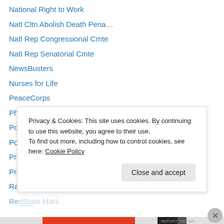National Right to Work
Natl Cltn Abolish Death Pena…
Natl Rep Congressional Cmte
Natl Rep Senatorial Cmte
NewsBusters
Nurses for Life
PeaceCorps
Physicians for Life
Politico
Poverty.com
Pro Life OB|GYNS
Project 21
Raging Elephants
RedState Market…
Privacy & Cookies: This site uses cookies. By continuing to use this website, you agree to their use.
To find out more, including how to control cookies, see here: Cookie Policy
REPORT THIS AD